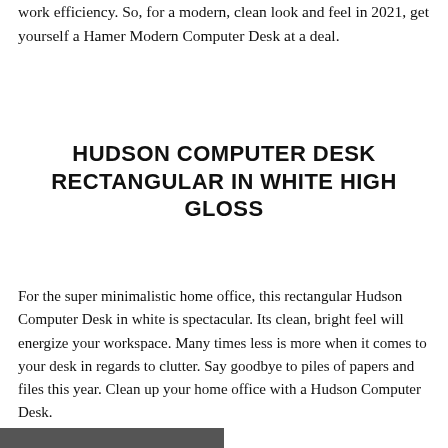work efficiency. So, for a modern, clean look and feel in 2021, get yourself a Hamer Modern Computer Desk at a deal.
HUDSON COMPUTER DESK RECTANGULAR IN WHITE HIGH GLOSS
For the super minimalistic home office, this rectangular Hudson Computer Desk in white is spectacular. Its clean, bright feel will energize your workspace. Many times less is more when it comes to your desk in regards to clutter. Say goodbye to piles of papers and files this year. Clean up your home office with a Hudson Computer Desk.